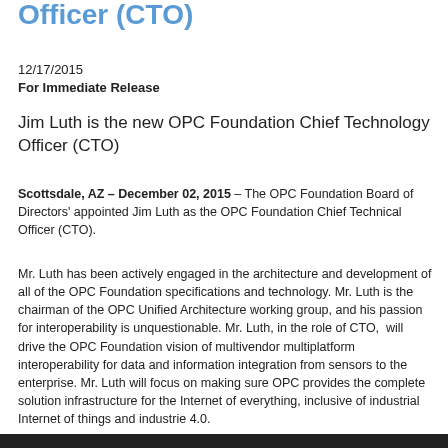Officer (CTO)
12/17/2015
For Immediate Release
Jim Luth is the new OPC Foundation Chief Technology Officer (CTO)
Scottsdale, AZ – December 02, 2015 – The OPC Foundation Board of Directors' appointed Jim Luth as the OPC Foundation Chief Technical Officer (CTO).
Mr. Luth has been actively engaged in the architecture and development of all of the OPC Foundation specifications and technology. Mr. Luth is the chairman of the OPC Unified Architecture working group, and his passion for interoperability is unquestionable. Mr. Luth, in the role of CTO,  will drive the OPC Foundation vision of multivendor multiplatform interoperability for data and information integration from sensors to the enterprise. Mr. Luth will focus on making sure OPC provides the complete solution infrastructure for the Internet of everything, inclusive of industrial Internet of things and industrie 4.0.